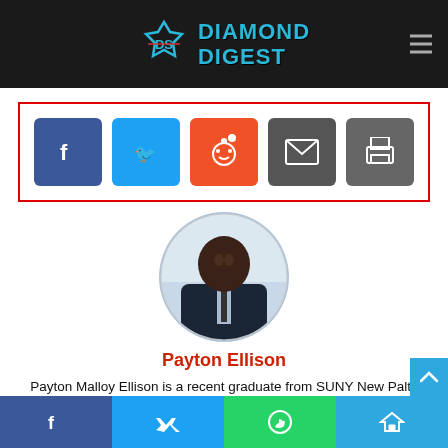Diamond Digest
[Figure (infographic): Social share buttons: Facebook, Twitter, Reddit, Email, Print inside a red-bordered box]
[Figure (photo): Circular profile photo of Payton Ellison, a young Black man in a dark suit and tie]
Payton Ellison
Payton Malloy Ellison is a recent graduate from SUNY New Paltz with a degree in journalism. He has been writing his entire life, and about sports in various gen
Facebook | Twitter | WhatsApp | Telegram